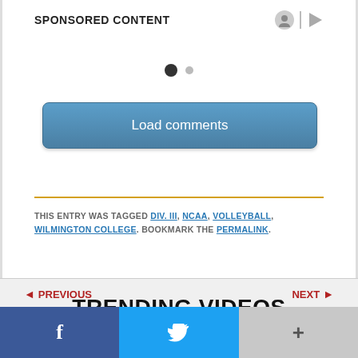SPONSORED CONTENT
[Figure (other): Carousel dot indicators: one filled black dot and one smaller grey dot]
Load comments
THIS ENTRY WAS TAGGED DIV. III, NCAA, VOLLEYBALL, WILMINGTON COLLEGE. BOOKMARK THE PERMALINK.
◄ PREVIOUS
NEXT ►
TRENDING VIDEOS
[Figure (other): Social share bar with Facebook (blue), Twitter (light blue), and More (+) (grey) buttons]